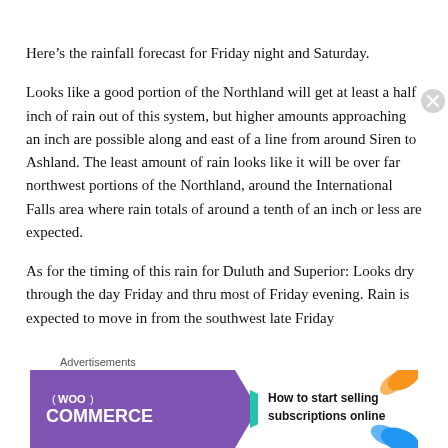Here’s the rainfall forecast for Friday night and Saturday.
Looks like a good portion of the Northland will get at least a half inch of rain out of this system, but higher amounts approaching an inch are possible along and east of a line from around Siren to Ashland. The least amount of rain looks like it will be over far northwest portions of the Northland, around the International Falls area where rain totals of around a tenth of an inch or less are expected.
As for the timing of this rain for Duluth and Superior: Looks dry through the day Friday and thru most of Friday evening. Rain is expected to move in from the southwest late Friday
[Figure (infographic): WooCommerce advertisement banner: purple background with WooCommerce logo and teal arrow pointing right, with text 'How to start selling subscriptions online' and orange/blue leaf decorations.]